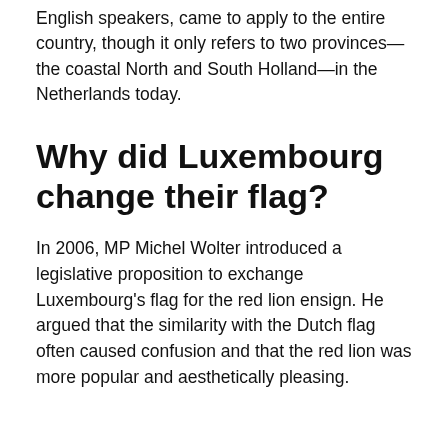English speakers, came to apply to the entire country, though it only refers to two provinces—the coastal North and South Holland—in the Netherlands today.
Why did Luxembourg change their flag?
In 2006, MP Michel Wolter introduced a legislative proposition to exchange Luxembourg's flag for the red lion ensign. He argued that the similarity with the Dutch flag often caused confusion and that the red lion was more popular and aesthetically pleasing.